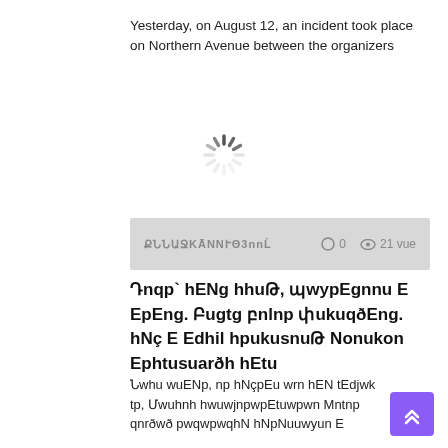Yesterday, on August 12, an incident took place on Northern Avenue between the organizers
[Figure (other): Loading spinner icon (circular dashed ring indicating content loading)]
ՔننԱԶԿĀNNՒԹ3nnĹ  ◯ 0  👁 21 vue
Դոqp` hEng hhuma, պայpEgnnu E EpEng. Բugtg բnlnp փukuqðEng. hNç E Edhil hpukusnuԹ Nonukon Ephtusuarðh hEtu
Նahi wuENp, np hNçpEu wrnhEu tEdyal tp, Մwuhnh hwuwjnpwpEtuwpwn Mntnp qnrðwð pwqwpwqhN hNpNuuwyun E